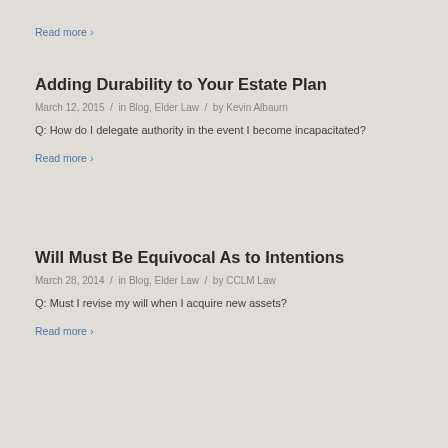Read more >
Adding Durability to Your Estate Plan
March 12, 2015 / in Blog, Elder Law / by Kevin Albaurn
Q: How do I delegate authority in the event I become incapacitated?
Read more >
Will Must Be Equivocal As to Intentions
March 28, 2014 / in Blog, Elder Law / by CCLM Law
Q: Must I revise my will when I acquire new assets?
Read more >